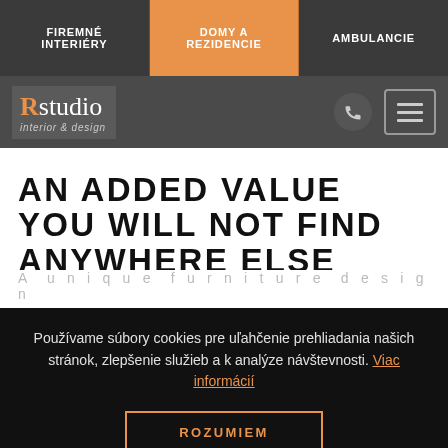FIREMNÉ INTERIÉRY | DOMY A REZIDENCIE | AMBULANCIE
[Figure (logo): Rstudio interior & design logo with phone icon and hamburger menu icon on dark grey bar]
AN ADDED VALUE YOU WILL NOT FIND ANYWHERE ELSE
A unique furniture design
Používame súbory cookies pre uľahčenie prehliadania našich stránok, zlepšenie služieb a k analýze návštevnosti. Viac informácií
ROZUMIEM